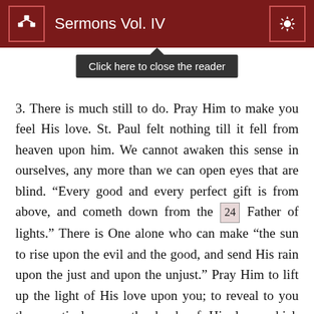Sermons Vol. IV
3. There is much still to do. Pray Him to make you feel His love. St. Paul felt nothing till it fell from heaven upon him. We cannot awaken this sense in ourselves, any more than we can open eyes that are blind. “Every good and every perfect gift is from above, and cometh down from the [24] Father of lights.” There is One alone who can make “the sun to rise upon the evil and the good, and send His rain upon the just and upon the unjust.” Pray Him to lift up the light of His love upon you; to reveal to you the mystical cross, the book of His love which passeth knowledge, and to give you grace with all saints to read it in its length, breadth